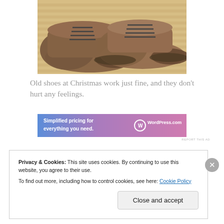[Figure (photo): Close-up photo of worn brown leather lace-up boots on a light tan/striped surface]
Old shoes at Christmas work just fine, and they don't hurt any feelings.
[Figure (infographic): WordPress.com advertisement banner: 'Simplified pricing for everything you need.' with WordPress.com logo on a blue-to-purple gradient background]
REPORT THIS AD
Privacy & Cookies: This site uses cookies. By continuing to use this website, you agree to their use.
To find out more, including how to control cookies, see here: Cookie Policy
Close and accept